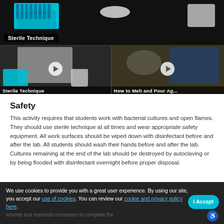[Figure (screenshot): Video thumbnails showing sterile technique lab procedures. Top: blue rack with lab equipment. Bottom left: person in lab coat with teal pipette rack and bucket, labeled 'Sterile Technique'. Bottom right: person in blue jacket pouring agar, labeled 'How to Melt and Pour Ag...']
Safety
This activity requires that students work with bacterial cultures and open flames. They should use sterile technique at all times and wear appropriate safety equipment. All work surfaces should be wiped down with disinfectant before and after the lab. All students should wash their hands before and after the lab. Cultures remaining at the end of the lab should be destroyed by autoclaving or by being flooded with disinfectant overnight before proper disposal.
We use cookies to provide you with a great user experience. By using our site, you accept our use of cookies. You can review our cookie and privacy policy here.